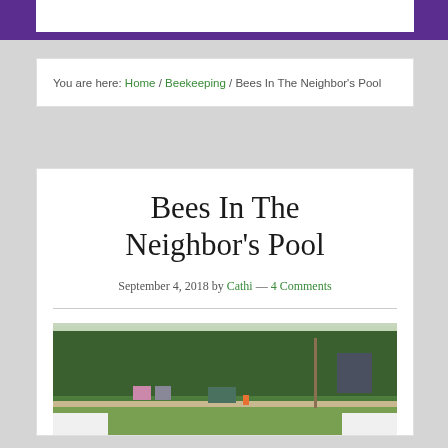You are here: Home / Beekeeping / Bees In The Neighbor's Pool
Bees In The Neighbor's Pool
September 4, 2018 by Cathi — 4 Comments
[Figure (photo): Outdoor photo showing a neighborhood scene with trees, a fence line, a utility pole, buildings, signs, and beehive boxes on the ground]